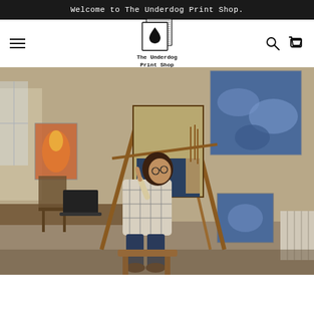Welcome to The Underdog Print Shop.
[Figure (logo): The Underdog Print Shop logo — stacked papers with a water drop icon, with text 'The Underdog Print Shop' below]
[Figure (photo): An artist sitting on a stool in front of an easel in a studio, painting on canvas, surrounded by artworks on the walls]